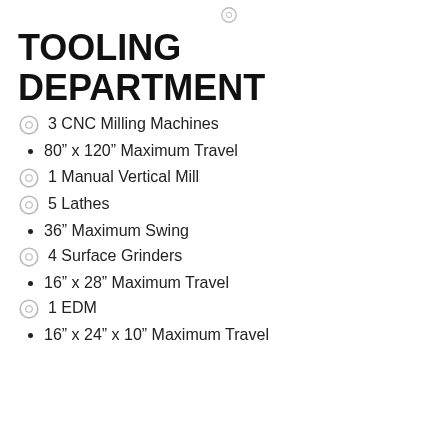TOOLING DEPARTMENT
3 CNC Milling Machines
80” x 120” Maximum Travel
1 Manual Vertical Mill
5 Lathes
36” Maximum Swing
4 Surface Grinders
16” x 28” Maximum Travel
1 EDM
16” x 24” x 10” Maximum Travel